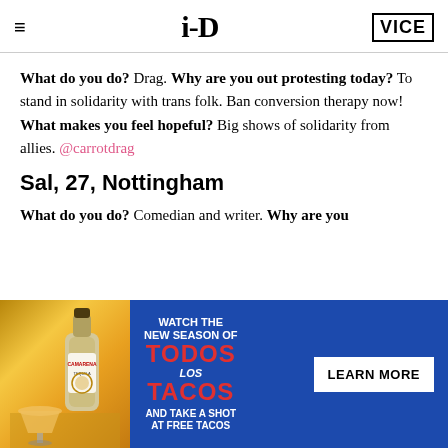i-D VICE
What do you do? Drag. Why are you out protesting today? To stand in solidarity with trans folk. Ban conversion therapy now! What makes you feel hopeful? Big shows of solidarity from allies. @carrotdrag
Sal, 27, Nottingham
What do you do? Comedian and writer. Why are you
[Figure (photo): Advertisement banner for Camarena Tequila and 'Todos Los Tacos' show. Left side shows a bottle of Camarena Tequila with a cocktail. Right side has blue background with text: WATCH THE NEW SEASON OF TODOS Los TACOS AND TAKE A SHOT AT FREE TACOS, and a LEARN MORE button.]